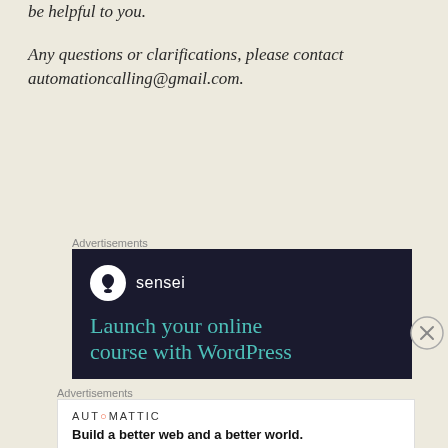be helpful to you.
Any questions or clarifications, please contact automationcalling@gmail.com.
Advertisements
[Figure (illustration): Sensei ad banner on dark background with teal logo circle, sensei name, and text 'Launch your online course with WordPress']
Advertisements
[Figure (illustration): Automattic ad: white box with AUTOMATTIC logo and tagline 'Build a better web and a better world.']